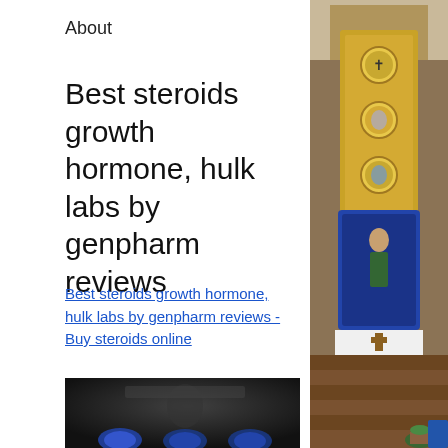About
Best steroids growth hormone, hulk labs by genpharm reviews
Best steroids growth hormone, hulk labs by genpharm reviews - Buy steroids online
[Figure (photo): Blurred dark image showing bodybuilding supplements or vials at the bottom portion of the page]
[Figure (photo): Church interior photo on the right side showing altar with religious icons, gold decorations, and wooden pews]